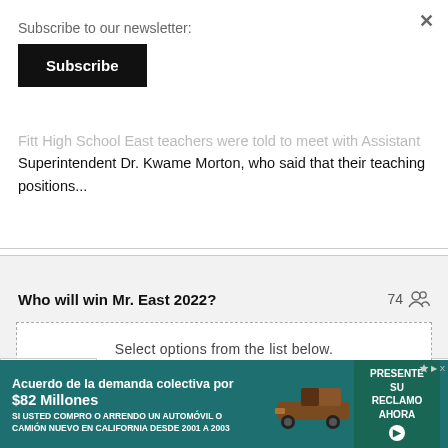Subscribe to our newsletter:
Subscribe
Fitt High School East teachers were told to meet with Assistant Superintendent Dr. Kwame Morton, who said that their teaching positions...
Who will win Mr. East 2022?  74 [people icon]
Select options from the list below.
[Figure (screenshot): Advertisement banner: Acuerdo de la demanda colectiva por $82 Millones. SI USTED COMPRO O ARRENDO UN AUTOMOVIL O CAMION NUEVO EN CALIFORNIA DESDE 2001 A 2003. With a brown pickup truck image and a green PRESENTE SU RECLAMO AHORA button.]